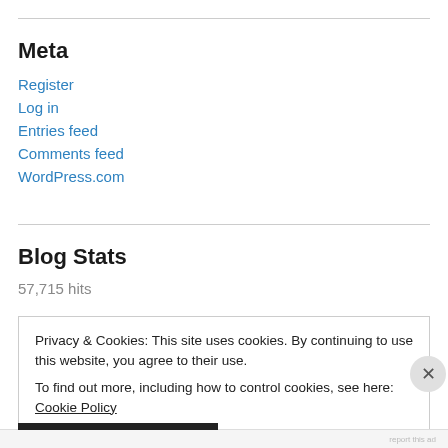Meta
Register
Log in
Entries feed
Comments feed
WordPress.com
Blog Stats
57,715 hits
Privacy & Cookies: This site uses cookies. By continuing to use this website, you agree to their use.
To find out more, including how to control cookies, see here: Cookie Policy
Close and accept